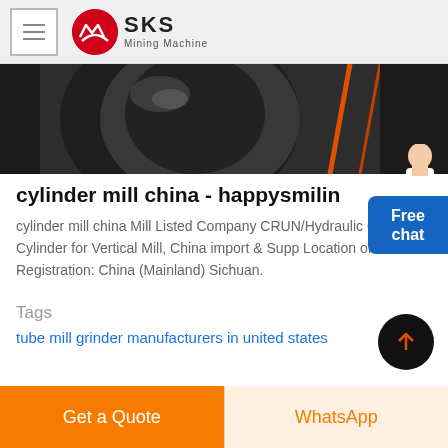SKS Mining Machine
[Figure (photo): Close-up photo of industrial cylinder mill machinery with dark metallic surfaces and cables]
cylinder mill china - happysmilin
cylinder mill china Mill Listed Company CRUN/Hydraulic Oil Cylinder for Vertical Mill, China import & Supp Location of Registration: China (Mainland) Sichuan.
Tags
tube mill grinder manufacturers in united states